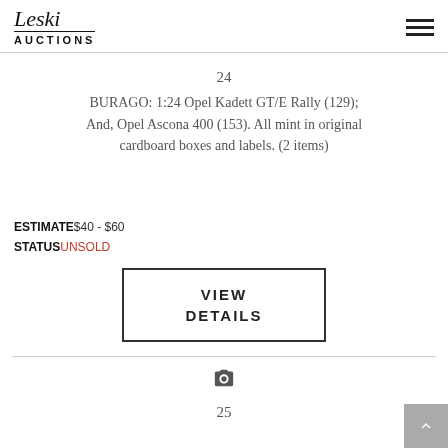Leski AUCTIONS
24
BURAGO: 1:24 Opel Kadett GT/E Rally (129); And, Opel Ascona 400 (153). All mint in original cardboard boxes and labels. (2 items)
ESTIMATE $40 - $60
STATUS UNSOLD
VIEW DETAILS
25